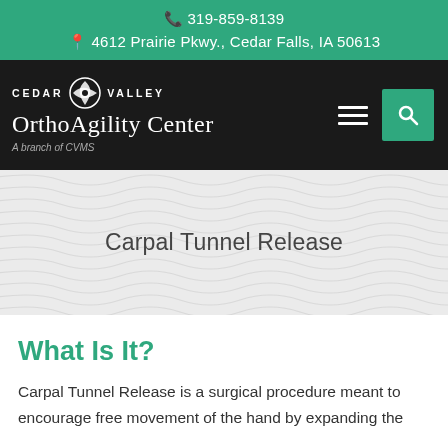📞 319-859-8139
📍 4612 Prairie Pkwy., Cedar Falls, IA 50613
[Figure (logo): Cedar Valley OrthoAgility Center logo - A branch of CVMS, white text on black background with leaf emblem]
Carpal Tunnel Release
What Is It?
Carpal Tunnel Release is a surgical procedure meant to encourage free movement of the hand by expanding the